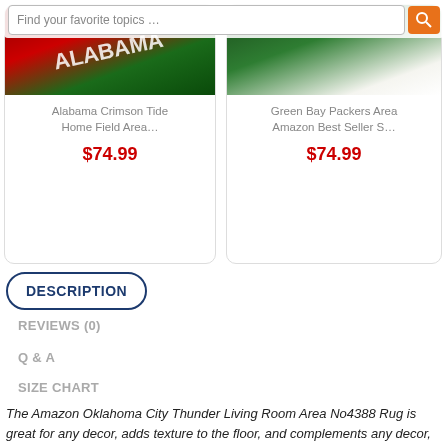[Figure (screenshot): Product cards showing Alabama Crimson Tide Home Field Area rug and Green Bay Packers Area Amazon Best Seller rug, each priced at $74.99, with search bar overlay at top]
Alabama Crimson Tide Home Field Area...
$74.99
Green Bay Packers Area Amazon Best Seller S...
$74.99
DESCRIPTION
REVIEWS (0)
Q & A
SIZE CHART
The Amazon Oklahoma City Thunder Living Room Area No4388 Rug is great for any decor, adds texture to the floor, and complements any decor, and great housewarming gift or present or entry. Easy to be placed on the floor of the front door, back door, kitchen, bathroom, bedroom, living room,